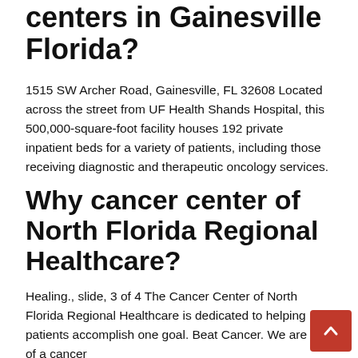centers in Gainesville Florida?
1515 SW Archer Road, Gainesville, FL 32608 Located across the street from UF Health Shands Hospital, this 500,000-square-foot facility houses 192 private inpatient beds for a variety of patients, including those receiving diagnostic and therapeutic oncology services.
Why cancer center of North Florida Regional Healthcare?
Healing., slide, 3 of 4 The Cancer Center of North Florida Regional Healthcare is dedicated to helping patients accomplish one goal. Beat Cancer. We are part of a cancer